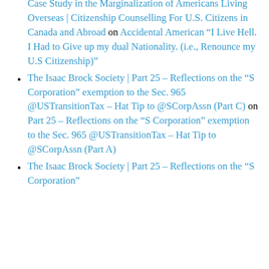Case Study in the Marginalization of Americans Living Overseas | Citizenship Counselling For U.S. Citizens in Canada and Abroad on Accidental American “I Live Hell. I Had to Give up my dual Nationality. (i.e., Renounce my U.S Citizenship)”
The Isaac Brock Society | Part 25 – Reflections on the “S Corporation” exemption to the Sec. 965 @USTransitionTax – Hat Tip to @SCorpAssn (Part C) on Part 25 – Reflections on the “S Corporation” exemption to the Sec. 965 @USTransitionTax – Hat Tip to @SCorpAssn (Part A)
The Isaac Brock Society | Part 25 – Reflections on the “S Corporation”